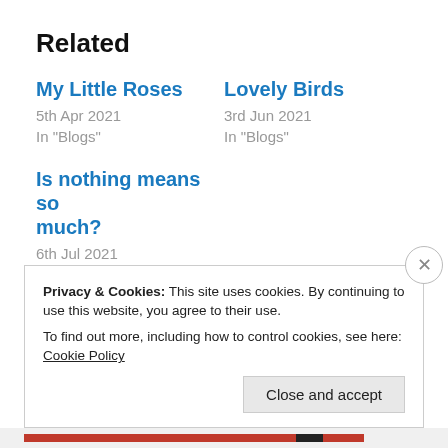Related
My Little Roses
5th Apr 2021
In "Blogs"
Lovely Birds
3rd Jun 2021
In "Blogs"
Is nothing means so much?
6th Jul 2021
In "Blogs"
Privacy & Cookies: This site uses cookies. By continuing to use this website, you agree to their use.
To find out more, including how to control cookies, see here: Cookie Policy
Close and accept